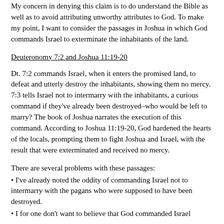My concern in denying this claim is to do understand the Bible as well as to avoid attributing unworthy attributes to God. To make my point, I want to consider the passages in Joshua in which God commands Israel to exterminate the inhabitants of the land.
Deuteronomy 7:2 and Joshua 11:19-20
Dt. 7:2 commands Israel, when it enters the promised land, to defeat and utterly destroy the inhabitants, showing them no mercy. 7:3 tells Israel not to intermarry with the inhabitants, a curious command if they've already been destroyed–who would be left to marry? The book of Joshua narrates the execution of this command. According to Joshua 11:19-20, God hardened the hearts of the locals, prompting them to fight Joshua and Israel, with the result that were exterminated and received no mercy.
There are several problems with these passages:
• I've already noted the oddity of commanding Israel not to intermarry with the pagans who were supposed to have been destroyed.
• I for one don't want to believe that God commanded Israel